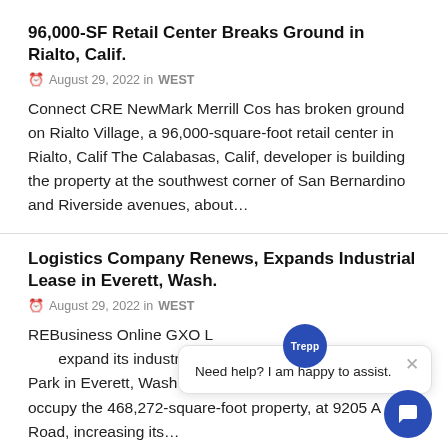96,000-SF Retail Center Breaks Ground in Rialto, Calif.
August 29, 2022 in WEST
Connect CRE NewMark Merrill Cos has broken ground on Rialto Village, a 96,000-square-foot retail center in Rialto, Calif The Calabasas, Calif, developer is building the property at the southwest corner of San Bernardino and Riverside avenues, about…
Logistics Company Renews, Expands Industrial Lease in Everett, Wash.
August 29, 2022 in WEST
REBusiness Online GXO L… expand its industrial lease at the Bomarc Business Park in Everett, Wash The logistic company will now fully occupy the 468,272-square-foot property, at 9205 A… Road, increasing its…